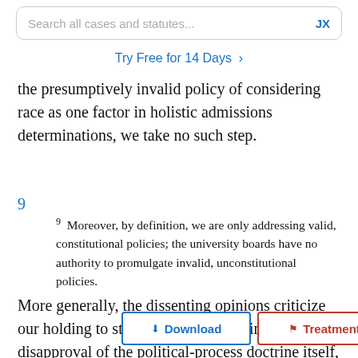Search all cases and statutes...   JX
Try Free for 14 Days >
the presumptively invalid policy of considering race as one factor in holistic admissions determinations, we take no such step.
9
9  Moreover, by definition, we are only addressing valid, constitutional policies; the university boards have no authority to promulgate invalid, unconstitutional policies.
More generally, the dissenting opinions criticize our holding to... str... heir core, these opinions express disapproval of the political-process doctrine itself, dissatisfaction that Grutter...